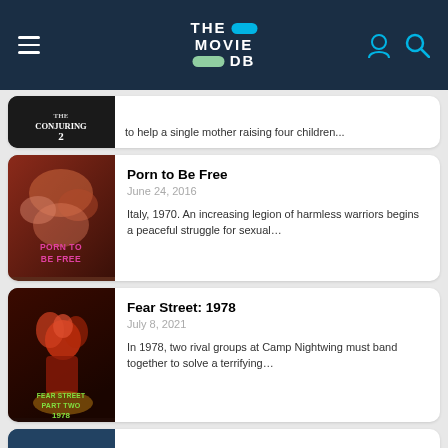[Figure (screenshot): The Movie DB website header with logo, hamburger menu, user icon and search icon on dark blue background]
[Figure (photo): Partial movie card for The Conjuring 2 with poster thumbnail and truncated description: to help a single mother raising four children...]
Porn to Be Free
June 24, 2016
Italy, 1970. An increasing legion of harmless warriors begins a peaceful struggle for sexual...
Fear Street: 1978
July 8, 2021
In 1978, two rival groups at Camp Nightwing must band together to solve a terrifying...
[Figure (photo): Partial movie card visible at bottom of page]